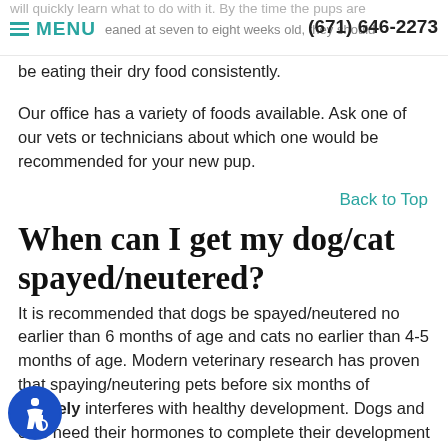will quickly learn what to do with it. By the time the pups are weaned at seven to eight weeks old, they should be eating their dry food consistently. | ≡ MENU | (671) 646-2273
be eating their dry food consistently.
Our office has a variety of foods available. Ask one of our vets or technicians about which one would be recommended for your new pup.
Back to Top
When can I get my dog/cat spayed/neutered?
It is recommended that dogs be spayed/neutered no earlier than 6 months of age and cats no earlier than 4-5 months of age. Modern veterinary research has proven that spaying/neutering pets before six months of absolutely interferes with healthy development. Dogs and cats need their hormones to complete their development